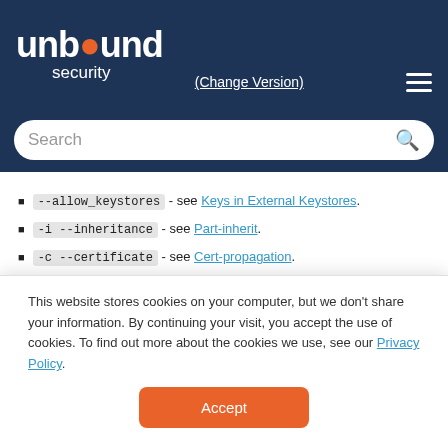[Figure (logo): Unbound Security logo with orange 'o' on dark navy header]
(Change Version)
Search
[--allow_keystores] - see Keys in External Keystores.
-i --inheritance - see Part-inherit.
-c --certificate - see Cert-propagation.
[-f --fips <FIPS policy>] - see FIPS Processing Policy _.
Note
This website stores cookies on your computer, but we don't share your information. By continuing your visit, you accept the use of cookies. To find out more about the cookies we use, see our Privacy Policy.
Accept